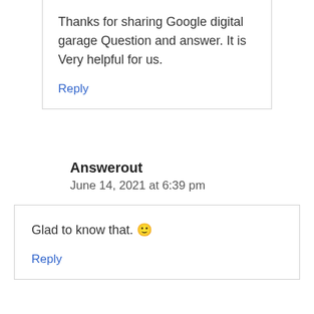Thanks for sharing Google digital garage Question and answer. It is Very helpful for us.
Reply
Answerout
June 14, 2021 at 6:39 pm
Glad to know that. 🙂
Reply